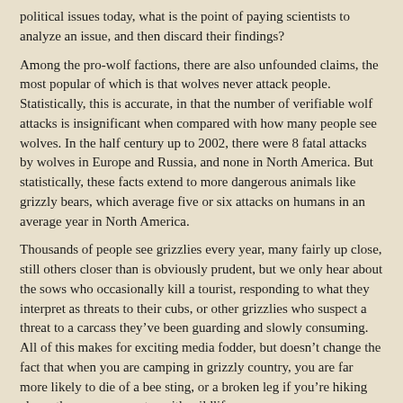political issues today, what is the point of paying scientists to analyze an issue, and then discard their findings?
Among the pro-wolf factions, there are also unfounded claims, the most popular of which is that wolves never attack people. Statistically, this is accurate, in that the number of verifiable wolf attacks is insignificant when compared with how many people see wolves. In the half century up to 2002, there were 8 fatal attacks by wolves in Europe and Russia, and none in North America. But statistically, these facts extend to more dangerous animals like grizzly bears, which average five or six attacks on humans in an average year in North America.
Thousands of people see grizzlies every year, many fairly up close, still others closer than is obviously prudent, but we only hear about the sows who occasionally kill a tourist, responding to what they interpret as threats to their cubs, or other grizzlies who suspect a threat to a carcass they’ve been guarding and slowly consuming. All of this makes for exciting media fodder, but doesn’t change the fact that when you are camping in grizzly country, you are far more likely to die of a bee sting, or a broken leg if you’re hiking alone, than any encounter with wildlife.
Unfortunately, Hollywood does its best to manipulate our fears by creating fantasy horror movies like “The Gray”, or the old “Bart the Bear” movies like “The Edge”, which encourage us to forget that Hollywood is trying to entertain us, not educate us. I’ve seen dozens of Grizzlies in Canada and Alaska, and their reactions ranged from ignoring us, to detached curiosity, to fleeing.
If you’d like to know more about wolves, their behavior, or their biology...